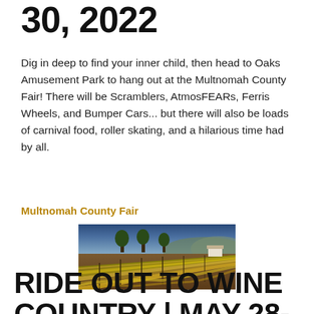30, 2022
Dig in deep to find your inner child, then head to Oaks Amusement Park to hang out at the Multnomah County Fair! There will be Scramblers, AtmosFEARs, Ferris Wheels, and Bumper Cars... but there will also be loads of carnival food, roller skating, and a hilarious time had by all.
Multnomah County Fair
[Figure (photo): Aerial view of vineyard rows with golden-green vines stretching into the distance, trees and hills in background]
RIDE OUT TO WINE COUNTRY | MAY 28-30